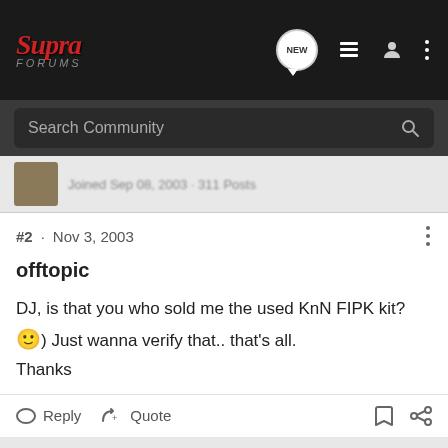Supra Forums — navigation bar with logo, NEW button, list icon, user icon, dots icon
Search Community
Joined Sep 08, 2003 · 311 Posts
#2 · Nov 3, 2003
offtopic
DJ, is that you who sold me the used KnN FIPK kit? :) Just wanna verify that.. that's all. Thanks
Reply   Quote
drjonez · boost freak
Joined Sep 6, 2001 · 10,042 Posts